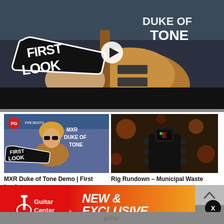[Figure (screenshot): Hero video thumbnail showing a guitar player holding a PRS-style guitar. 'FIRST LOOK' logo on left in black outlined badge and 'DUKE OF TONE' large text on right. White play button in center.]
[Figure (screenshot): Thumbnail for 'MXR Duke of Tone Demo | First Look' showing a musician with guitar, PG Presents branding, First Look logo, and MXR Duke of Tone text overlay.]
MXR Duke of Tone Demo | First Look
[Figure (screenshot): Thumbnail for 'Rig Rundown - Municipal Waste' showing a guitar headstock with a clip-on tuner showing letter E on dark bokeh background.]
Rig Rundown - Municipal Waste
[Figure (illustration): Guitar Center advertisement banner with red-to-orange gradient background, Guitar Center logo on left, and bold italic white text reading 'NEW & EXCLUSIVE' on right.]